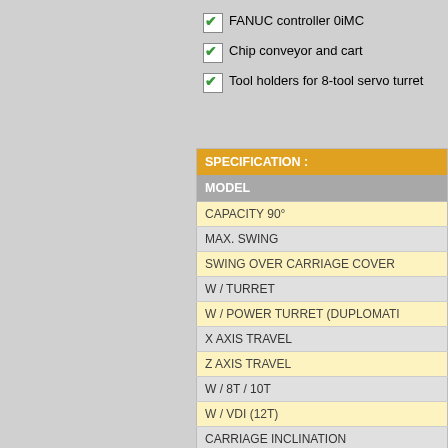FANUC controller 0iMC
Chip conveyor and cart
Tool holders for 8-tool servo turret
| SPECIFICATION : |
| --- |
| MODEL |
| CAPACITY 90° |
| MAX. SWING |
| SWING OVER CARRIAGE COVER |
| W / TURRET |
| W / POWER TURRET (DUPLOMATI... |
| X AXIS TRAVEL |
| Z AXIS TRAVEL |
| W / 8T / 10T |
| W / VDI (12T) |
| CARRIAGE INCLINATION |
| SPINDLE |
| SPINDLE CENTER CENTER HEIGHT |
|  |